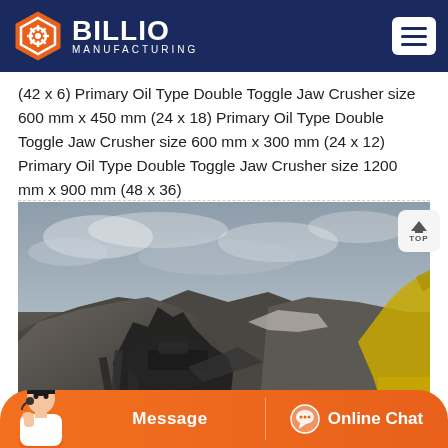BILLIO MANUFACTURING
(42 x 6) Primary Oil Type Double Toggle Jaw Crusher size 600 mm x 450 mm (24 x 18) Primary Oil Type Double Toggle Jaw Crusher size 600 mm x 300 mm (24 x 12) Primary Oil Type Double Toggle Jaw Crusher size 1200 mm x 900 mm (48 x 36)
[Figure (photo): Industrial photograph of heavy mining/crushing machinery on a rocky construction site with an excavator and overcast sky in background]
Message   Online Chat